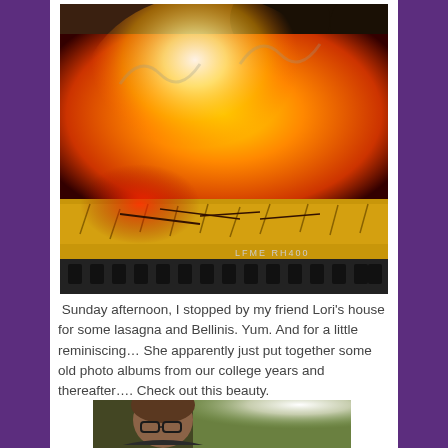[Figure (photo): A dramatic fire scene with flames engulfing dry grass and branches, with film strip perforations along the bottom edge and text 'LFME RH400']
Sunday afternoon, I stopped by my friend Lori's house for some lasagna and Bellinis. Yum. And for a little reminiscing… She apparently just put together some old photo albums from our college years and thereafter…. Check out this beauty.
[Figure (photo): A person wearing glasses photographed outdoors, partially visible at bottom of page]